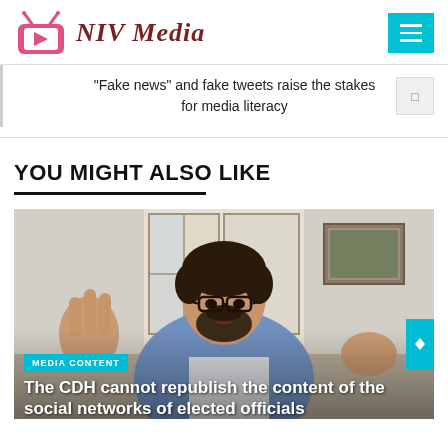[Figure (logo): NIV Media logo with pink TV icon and dark red italic serif text]
“Fake news” and fake tweets raise the stakes for media literacy
YOU MIGHT ALSO LIKE
[Figure (photo): A man with glasses and a beard wearing a blue shirt, gesturing with his hands, appearing to speak on camera in a home setting. A framed picture is visible on the wall behind him.]
MEDIA CONTENT
The CDH cannot republish the content of the social networks of elected officials